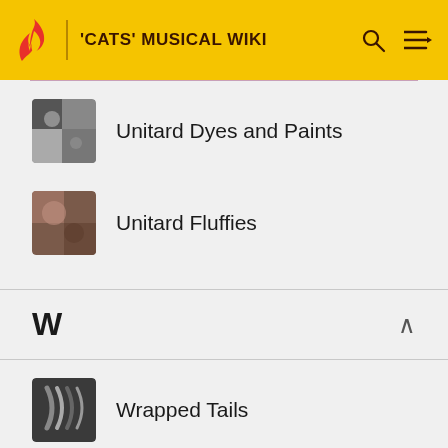'CATS' MUSICAL WIKI
Unitard Dyes and Paints
Unitard Fluffies
W
Wrapped Tails
[Figure (other): Advertisement placeholder (gray rectangle)]